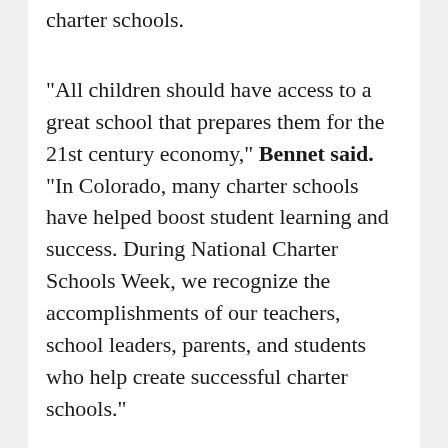charter schools.
"All children should have access to a great school that prepares them for the 21st century economy," Bennet said. "In Colorado, many charter schools have helped boost student learning and success. During National Charter Schools Week, we recognize the accomplishments of our teachers, school leaders, parents, and students who help create successful charter schools."
"Since their creation in the 1990's by the Minnesota Democratic Farmer Labor Party, charter schools have had strong bipartisan